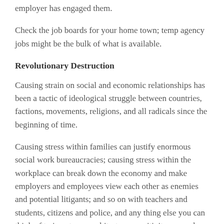employer has engaged them.
Check the job boards for your home town; temp agency jobs might be the bulk of what is available.
Revolutionary Destruction
Causing strain on social and economic relationships has been a tactic of ideological struggle between countries, factions, movements, religions, and all radicals since the beginning of time.
Causing stress within families can justify enormous social work bureaucracies; causing stress within the workplace can break down the economy and make employers and employees view each other as enemies and potential litigants; and so on with teachers and students, citizens and police, and any thing else you can think of to insert more arbitrators, sensitivity counselors, HR consultants, labor activists, and social